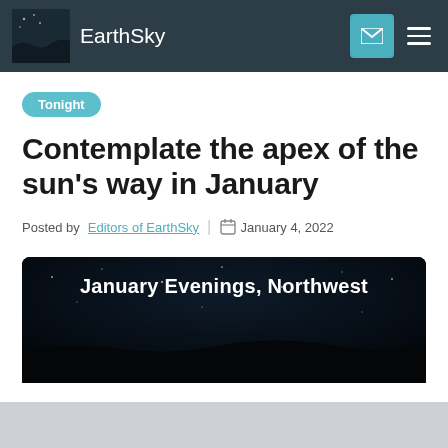EarthSky
Tonight
Contemplate the apex of the sun’s way in January
Posted by Editors of EarthSky | January 4, 2022
[Figure (illustration): Dark night sky background image with text 'January Evenings, Northwest' in white bold font]